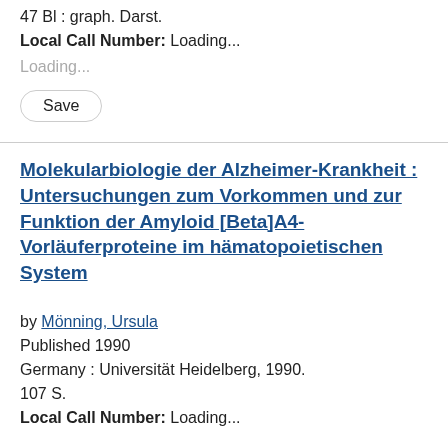47 Bl : graph. Darst.
Local Call Number: Loading...
Loading...
Save
Molekularbiologie der Alzheimer-Krankheit : Untersuchungen zum Vorkommen und zur Funktion der Amyloid [Beta]A4-Vorläuferproteine im hämatopoietischen System
by Mönning, Ursula
Published 1990
Germany : Universität Heidelberg, 1990.
107 S.
Local Call Number: Loading...